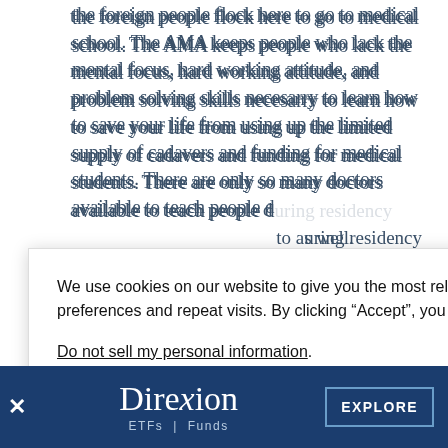the foreign people flock here to go to medical school. The AMA keeps people who lack the mental focus, hard working attitude, and problem solving skills necesarry to learn how to save your life from using up the limited supply of cadavers and funding for medical students. There are only so many doctors available to teach people during residency to as well.
REPLY
We use cookies on our website to give you the most relevant experience by remembering your preferences and repeat visits. By clicking “Accept”, you consent to the use of ALL the cookies.
Do not sell my personal information.
Cookie Settings
Accept
Reject All
[Figure (logo): Direxion ETFs | Funds logo on dark blue banner with X close button and EXPLORE button]